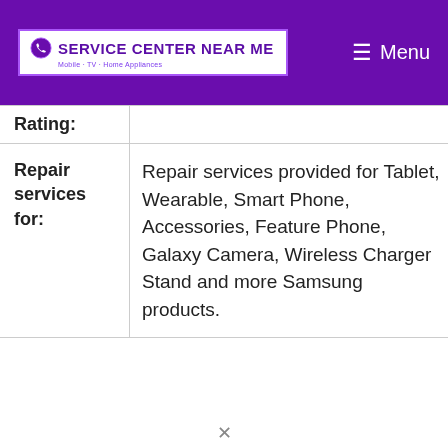[Figure (logo): Service Center Near Me website logo with phone icon, purple text on white background inside purple-bordered box, on a purple navigation header with Menu hamburger icon]
| Rating: |  |
| Repair services for: | Repair services provided for Tablet, Wearable, Smart Phone, Accessories, Feature Phone, Galaxy Camera, Wireless Charger Stand and more Samsung products. |